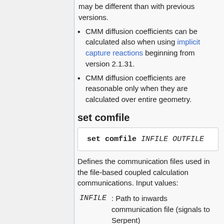may be different than with previous versions.
CMM diffusion coefficients can be calculated also when using implicit capture reactions beginning from version 2.1.31.
CMM diffusion coefficients are reasonable only when they are calculated over entire geometry.
set comfile
set comfile INFILE OUTFILE
Defines the communication files used in the file-based coupled calculation communications. Input values:
| Parameter | Description |
| --- | --- |
| INFILE | : Path to inwards communication file (signals to Serpent) |